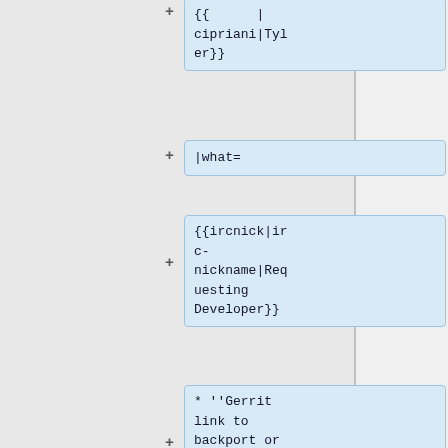{{ cipriani|Tyler}}
|what=
{{ircnick|irc-nickname|Requesting Developer}}
* ''Gerrit link to backport or config change''
}}|
{{#invoke:Deployment